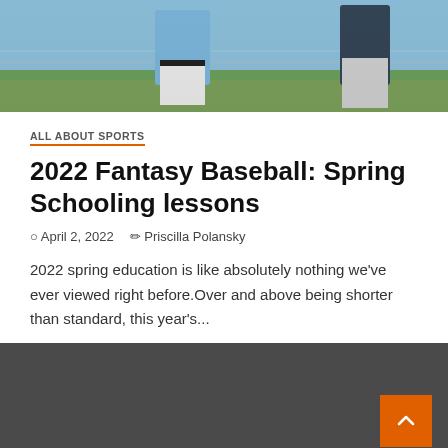[Figure (photo): Baseball players on a field, one wearing a light blue uniform and white pants with a black belt, another in a darker uniform, standing on a green field]
ALL ABOUT SPORTS
2022 Fantasy Baseball: Spring Schooling lessons
April 2, 2022   Priscilla Polansky
2022 spring education is like absolutely nothing we've ever viewed right before.Over and above being shorter than standard, this year's...
[Figure (other): Dark gray footer area with an orange back-to-top button with a chevron arrow]